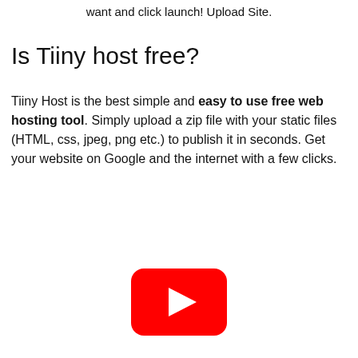want and click launch! Upload Site.
Is Tiiny host free?
Tiiny Host is the best simple and easy to use free web hosting tool. Simply upload a zip file with your static files (HTML, css, jpeg, png etc.) to publish it in seconds. Get your website on Google and the internet with a few clicks.
[Figure (other): YouTube play button logo — red rounded rectangle with white triangle play icon]